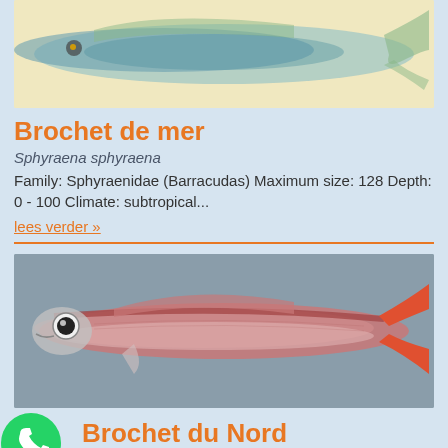[Figure (illustration): Illustration of Brochet de mer (barracuda-type fish) with yellow background, partial view showing the fish body]
Brochet de mer
Sphyraena sphyraena
Family: Sphyraenidae (Barracudas) Maximum size: 128 Depth: 0 - 100 Climate: subtropical...
lees verder »
[Figure (photo): Photograph of Brochet du Nord fish on grey background, showing a slender pinkish-red fish with large eye and red tail fin]
[Figure (logo): WhatsApp green circle logo icon]
Brochet du Nord
Centracanthus cirrus